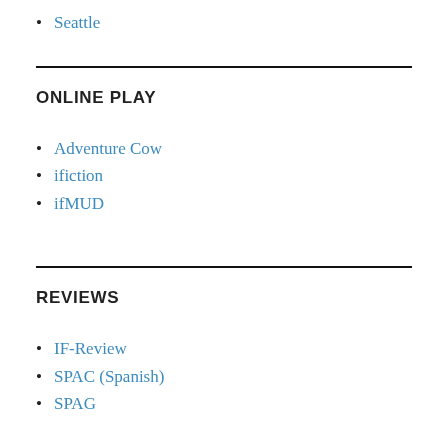Seattle
ONLINE PLAY
Adventure Cow
ifiction
ifMUD
REVIEWS
IF-Review
SPAC (Spanish)
SPAG